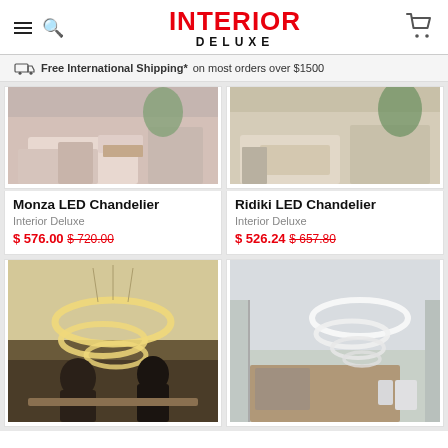INTERIOR DELUXE — navigation header with hamburger menu, search, and cart icons
🚚 Free International Shipping* on most orders over $1500
[Figure (photo): Monza LED Chandelier product photo showing living room interior]
Monza LED Chandelier
Interior Deluxe
$ 576.00  $720.00
[Figure (photo): Ridiki LED Chandelier product photo showing living room interior]
Ridiki LED Chandelier
Interior Deluxe
$ 526.24  $657.80
[Figure (photo): Crystal oval ring LED chandelier with people dining below]
[Figure (photo): White spiral ring LED chandelier over wooden dining table]